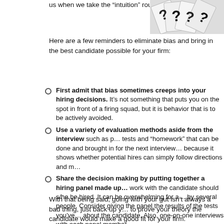us when we take the “intuition” route.
[Figure (photo): A photo of question mark cards fanned out, showing black question marks on white cards.]
Here are a few reminders to eliminate bias and bring in the best candidate possible for your firm:
First admit that bias sometimes creeps into your hiring decisions. It’s not something that puts you on the spot in front of a firing squad, but it is behavior that is to be actively avoided.
Use a variety of evaluation methods aside from the interview such as p… tests and “homework” that can be done and brought in for the next interview… because it shows whether potential hires can simply follow directions and m…
Share the decision making by putting together a hiring panel made up… work with the candidate should s/he be hired. It can be overwhelming for a… by several people. Consider giving the panel the results of the tests you’ve… about the candidate. Also, one-on-one interviews with each panel member…
Try to make the process as uniform and regimented as possible. The m… to slip in.
How they answer your questions is great. But what kind of questions is t… And why are they asking them? Dig deep to find out as much as you can wi… EEOC regulations.
With that being said, going with your gut isn’t always a bad thing, just back up y… to prove your theory the candidate would make a good fit for your firm.